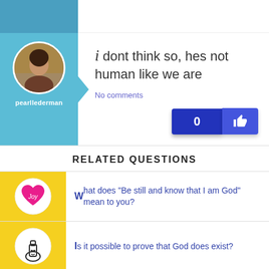[Figure (screenshot): User comment card with avatar photo of pearllederman, teal/blue left panel with arrow pointer, comment text reading 'i dont think so, hes not human like we are', No comments link, and a like button showing 0 likes]
i dont think so, hes not human like we are
No comments
RELATED QUESTIONS
What does "Be still and know that I am God" mean to you?
Is it possible to prove that God does exist?